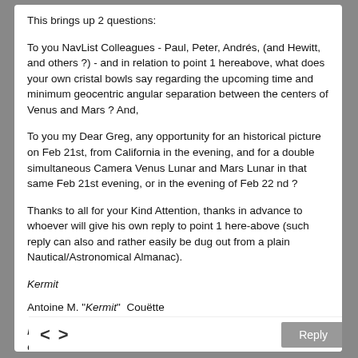This brings up 2 questions:
To you NavList Colleagues - Paul, Peter, Andrés, (and Hewitt, and others ?) - and in relation to point 1 hereabove, what does your own cristal bowls say regarding the upcoming time and minimum geocentric angular separation between the centers of Venus and Mars ? And,
To you my Dear Greg, any opportunity for an historical picture on Feb 21st, from California in the evening, and for a double simultaneous Camera Venus Lunar and Mars Lunar in that same Feb 21st evening, or in the evening of Feb 22 nd ?
Thanks to all for your Kind Attention, thanks in advance to whoever will give his own reply to point 1 here-above (such reply can also and rather easily be dug out from a plain Nautical/Astronomical Almanac).
Kermit
Antoine M. "Kermit"  Couëtte
PS: Hopefully no-typos here-above. They usually show up ONLY AFTER I hit the "launch" button, and almost never during the previous proofreading examinations.
< >   Reply